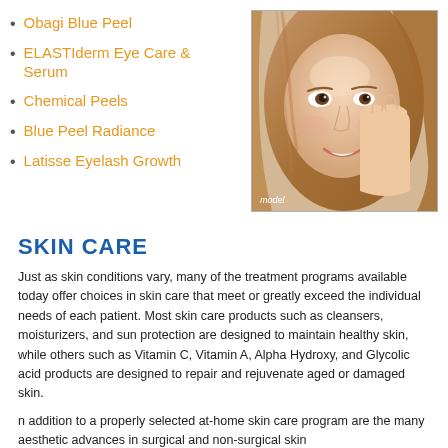Obagi Blue Peel
ELASTIderm Eye Care & Serum
Chemical Peels
Blue Peel Radiance
Latisse Eyelash Growth
[Figure (photo): Close-up photo of a smiling young woman with long brown hair, hand near her face. Labeled 'model' at the bottom.]
SKIN CARE
Just as skin conditions vary, many of the treatment programs available today offer choices in skin care that meet or greatly exceed the individual needs of each patient. Most skin care products such as cleansers, moisturizers, and sun protection are designed to maintain healthy skin, while others such as Vitamin C, Vitamin A, Alpha Hydroxy, and Glycolic acid products are designed to repair and rejuvenate aged or damaged skin.
In addition to a properly selected at-home skin care program are the many aesthetic advances in surgical and non-surgical skin